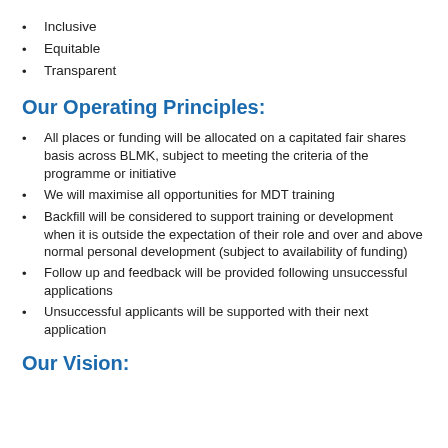Inclusive
Equitable
Transparent
Our Operating Principles:
All places or funding will be allocated on a capitated fair shares basis across BLMK, subject to meeting the criteria of the programme or initiative
We will maximise all opportunities for MDT training
Backfill will be considered to support training or development when it is outside the expectation of their role and over and above normal personal development (subject to availability of funding)
Follow up and feedback will be provided following unsuccessful applications
Unsuccessful applicants will be supported with their next application
Our Vision: